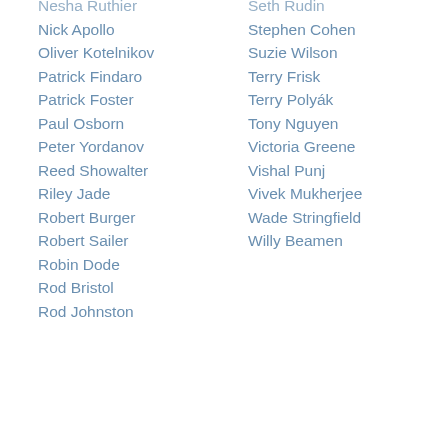Nesha Ruthier
Nick Apollo
Oliver Kotelnikov
Patrick Findaro
Patrick Foster
Paul Osborn
Peter Yordanov
Reed Showalter
Riley Jade
Robert Burger
Robert Sailer
Robin Dode
Rod Bristol
Rod Johnston
Seth Rudin
Stephen Cohen
Suzie Wilson
Terry Frisk
Terry Polyák
Tony Nguyen
Victoria Greene
Vishal Punj
Vivek Mukherjee
Wade Stringfield
Willy Beamen